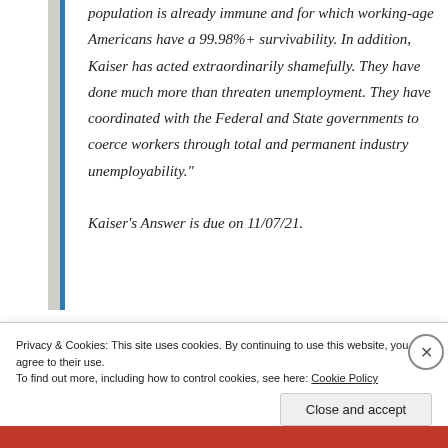population is already immune and for which working-age Americans have a 99.98%+ survivability. In addition, Kaiser has acted extraordinarily shamefully. They have done much more than threaten unemployment. They have coordinated with the Federal and State governments to coerce workers through total and permanent industry unemployability."

Kaiser's Answer is due on 11/07/21.
Privacy & Cookies: This site uses cookies. By continuing to use this website, you agree to their use.
To find out more, including how to control cookies, see here: Cookie Policy